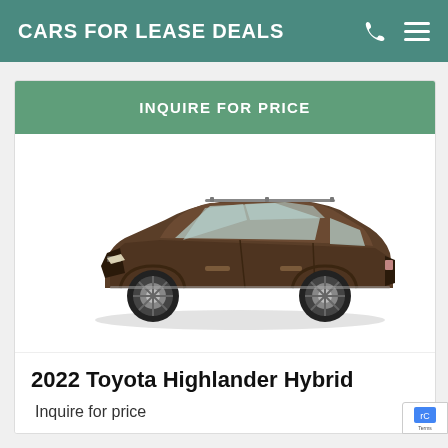CARS FOR LEASE DEALS
INQUIRE FOR PRICE
[Figure (photo): 2022 Toyota Highlander Hybrid SUV in brown/bronze color, 3/4 front view on white background]
2022 Toyota Highlander Hybrid
Inquire for price